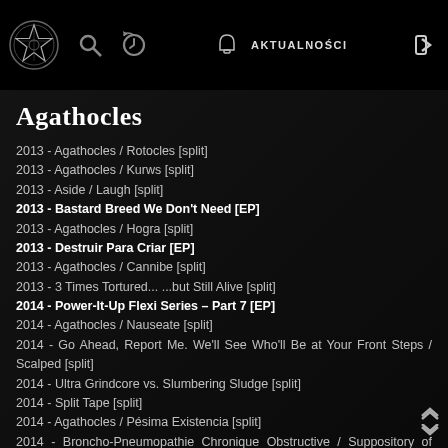AKTUALNOŚCI
Agathocles
2013 - Agathocles / Rotocles [split]
2013 - Agathocles / Kurws [split]
2013 - Aside / Laugh [split]
2013 - Bastard Breed We Don't Need [EP]
2013 - Agathocles / Hogra [split]
2013 - Destruir Para Criar [EP]
2013 - Agathocles / Cannibe [split]
2013 - 3 Times Tortured... ...but Still Alive [split]
2014 - Power-It-Up Flexi Series – Part 7 [EP]
2014 - Agathocles / Nauseate [split]
2014 - Go Ahead, Report Me. We'll See Who'll Be at Your Front Steps / Scalped [split]
2014 - Ultra Grindcore vs. Slumbering Sludge [split]
2014 - Split Tape [split]
2014 - Agathocles / Pésima Existencia [split]
2014 - Broncho-Pneumopathie Chronique Obstructive / Suppository of Speed [split]
2014 - What I Have Seen... / ...Becomes Grotesque and Vulgar [split]
2014 - Chotocore [split]
2014 - Agathocles / Malpractice Insurance [split]